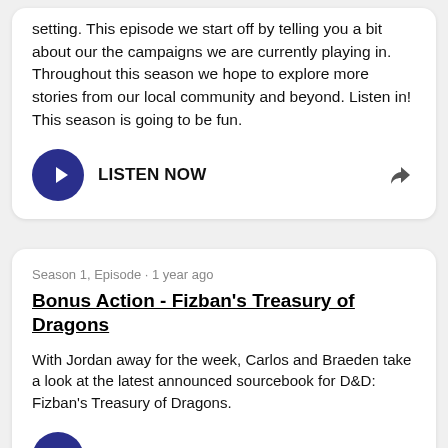setting. This episode we start off by telling you a bit about our the campaigns we are currently playing in. Throughout this season we hope to explore more stories from our local community and beyond. Listen in! This season is going to be fun.
LISTEN NOW
Season 1, Episode · 1 year ago
Bonus Action - Fizban's Treasury of Dragons
With Jordan away for the week, Carlos and Braeden take a look at the latest announced sourcebook for D&D: Fizban's Treasury of Dragons.
LISTEN NOW